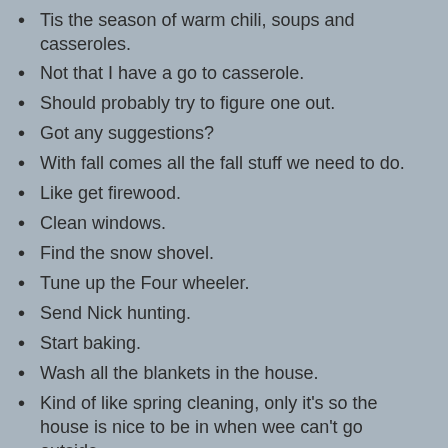Tis the season of warm chili, soups and casseroles.
Not that I have a go to casserole.
Should probably try to figure one out.
Got any suggestions?
With fall comes all the fall stuff we need to do.
Like get firewood.
Clean windows.
Find the snow shovel.
Tune up the Four wheeler.
Send Nick hunting.
Start baking.
Wash all the blankets in the house.
Kind of like spring cleaning, only it's so the house is nice to be in when wee can't go outside.
When Winter lasts as long as it does here, we definitely need the house to be nice.
Helps some with the cabin fever.